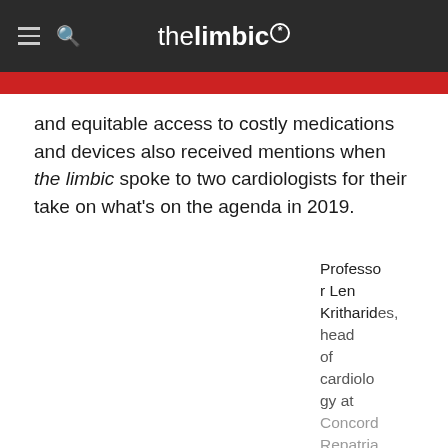thelimbic*
and equitable access to costly medications and devices also received mentions when the limbic spoke to two cardiologists for their take on what's on the agenda in 2019.
Professor Len Kritharides, head of cardiology at Concord Repatria…